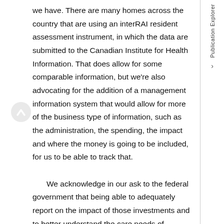we have. There are many homes across the country that are using an interRAI resident assessment instrument, in which the data are submitted to the Canadian Institute for Health Information. That does allow for some comparable information, but we're also advocating for the addition of a management information system that would allow for more of the business type of information, such as the administration, the spending, the impact and where the money is going to be included, for us to be able to track that.

    We acknowledge in our ask to the federal government that being able to adequately report on the impact of those investments and to better understand the care needs of residents and where investments need to go are critical, so we would ask for that added support.
Publication Explorer